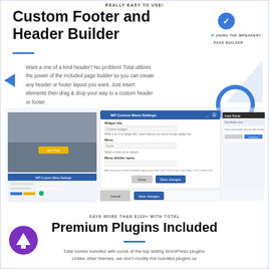REALLY EASY TO USE!
Custom Footer and Header Builder
USING THE WPBAKERY PAGE BUILDER
Want a one of a kind header? No problem! Total utilizes the power of the included page builder so you can create any header or footer layout you want. Just insert elements then drag & drop your way to a custom header or footer.
[Figure (screenshot): Screenshot of WPBakery page builder custom menu settings dialog and footer builder interface]
SAVE MORE THAN $100+ WITH TOTAL
Premium Plugins Included
Total comes bundled with some of the top selling WordPress plugins. Unlike other themes, we don't modify the bundled plugins so